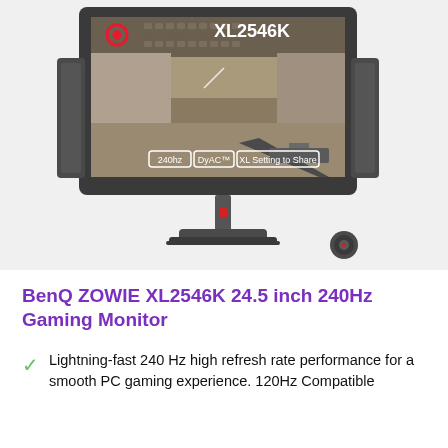[Figure (photo): BenQ ZOWIE XL2546K 24.5 inch 240Hz gaming monitor product photo showing the monitor displaying a first-person shooter game scene with badges showing 240hz, DyAC™, and XL Setting to Share. A small control puck accessory is visible to the right of the monitor base.]
BenQ ZOWIE XL2546K 24.5 inch 240Hz Gaming Monitor
Lightning-fast 240 Hz high refresh rate performance for a smooth PC gaming experience. 120Hz Compatible